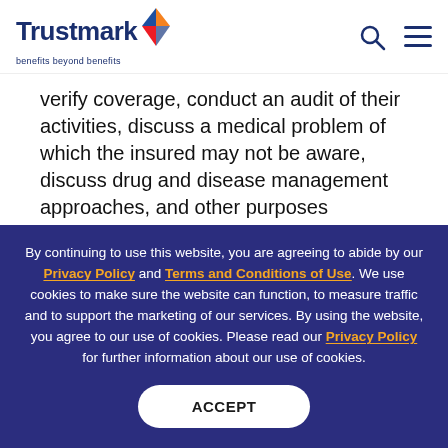Trustmark — benefits beyond benefits
verify coverage, conduct an audit of their activities, discuss a medical problem of which the insured may not be aware, discuss drug and disease management approaches, and other purposes permitted or required by law.
By continuing to use this website, you are agreeing to abide by our Privacy Policy and Terms and Conditions of Use. We use cookies to make sure the website can function, to measure traffic and to support the marketing of our services. By using the website, you agree to our use of cookies. Please read our Privacy Policy for further information about our use of cookies.
ACCEPT